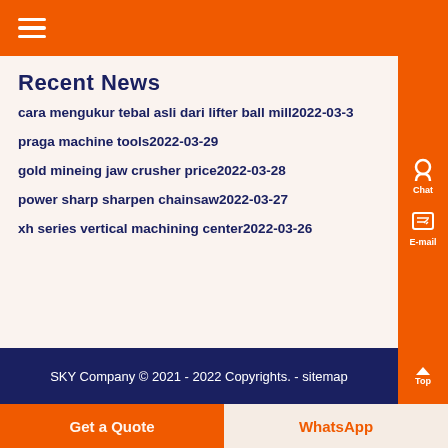Recent News
cara mengukur tebal asli dari lifter ball mill2022-03-3
praga machine tools2022-03-29
gold mineing jaw crusher price2022-03-28
power sharp sharpen chainsaw2022-03-27
xh series vertical machining center2022-03-26
SKY Company © 2021 - 2022 Copyrights. - sitemap